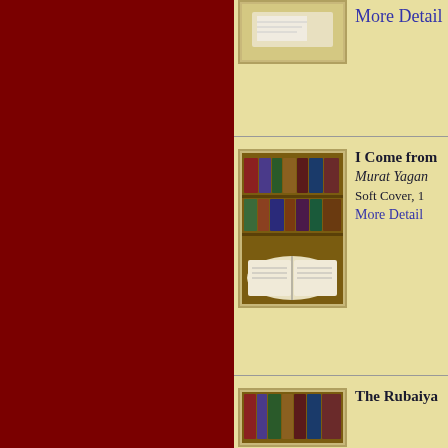[Figure (photo): Book thumbnail image at top, partially visible]
More Detail
[Figure (photo): Books on shelves with open book in foreground]
I Come from
Murat Yagan
Soft Cover, 1
More Detail
[Figure (photo): Books on shelves thumbnail at bottom, partially visible]
The Rubaiya